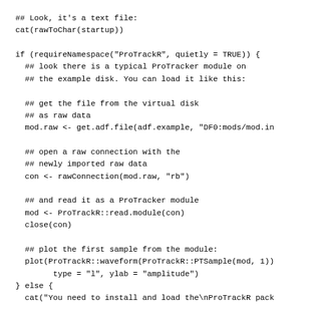## Look, it's a text file:
cat(rawToChar(startup))

if (requireNamespace("ProTrackR", quietly = TRUE)) {
  ## look there is a typical ProTracker module on
  ## the example disk. You can load it like this:

  ## get the file from the virtual disk
  ## as raw data
  mod.raw <- get.adf.file(adf.example, "DF0:mods/mod.in

  ## open a raw connection with the
  ## newly imported raw data
  con <- rawConnection(mod.raw, "rb")

  ## and read it as a ProTracker module
  mod <- ProTrackR::read.module(con)
  close(con)

  ## plot the first sample from the module:
  plot(ProTrackR::waveform(ProTrackR::PTSample(mod, 1))
        type = "l", ylab = "amplitude")
} else {
  cat("You need to install and load the\nProTrackR pack